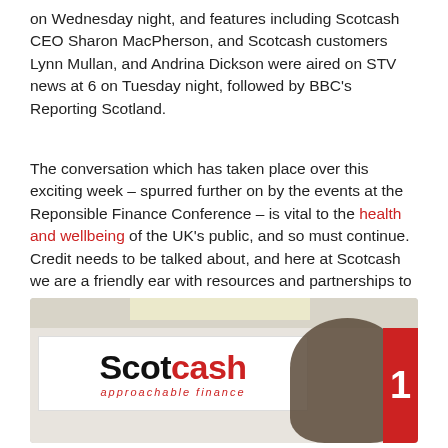on Wednesday night, and features including Scotcash CEO Sharon MacPherson, and Scotcash customers Lynn Mullan, and Andrina Dickson were aired on STV news at 6 on Tuesday night, followed by BBC's Reporting Scotland.
The conversation which has taken place over this exciting week – spurred further on by the events at the Reponsible Finance Conference – is vital to the health and wellbeing of the UK's public, and so must continue. Credit needs to be talked about, and here at Scotcash we are a friendly ear with resources and partnerships to make sure you understand your financial situation, and are getting the most out of your current options.
[Figure (photo): Photo of a smiling man with curly dark hair standing in front of a Scotcash 'approachable finance' sign. A red sign is partially visible on the right edge.]